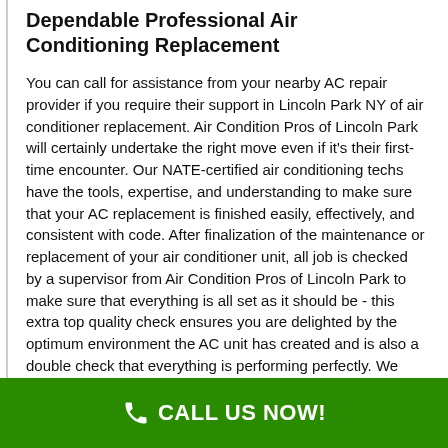Dependable Professional Air Conditioning Replacement
You can call for assistance from your nearby AC repair provider if you require their support in Lincoln Park NY of air conditioner replacement. Air Condition Pros of Lincoln Park will certainly undertake the right move even if it's their first-time encounter. Our NATE-certified air conditioning techs have the tools, expertise, and understanding to make sure that your AC replacement is finished easily, effectively, and consistent with code. After finalization of the maintenance or replacement of your air conditioner unit, all job is checked by a supervisor from Air Condition Pros of Lincoln Park to make sure that everything is all set as it should be - this extra top quality check ensures you are delighted by the optimum environment the AC unit has created and is also a double check that everything is performing perfectly. We service a large number of zones, including Lincoln Park NY
CALL US NOW!